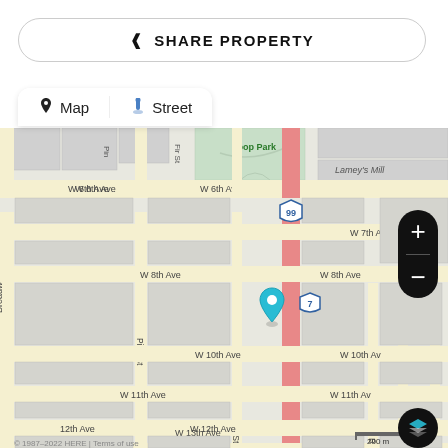SHARE PROPERTY
Map  Street
[Figure (map): Street map showing an urban grid area with streets including W 6th Ave, W 7th Ave, W 8th Ave, W 10th Ave, W 11th Ave, W 12th Ave, W 13th Ave, Pine St, Fir St, Birch St, Alder St, Broadway, and highway 99 and route 7. A teal location pin marks a property near W 9th Ave and the red highway corridor. A park labeled 'Loop Park' appears in the upper area. Map scale shows 200m. Zoom controls and a layers button are visible on the right.]